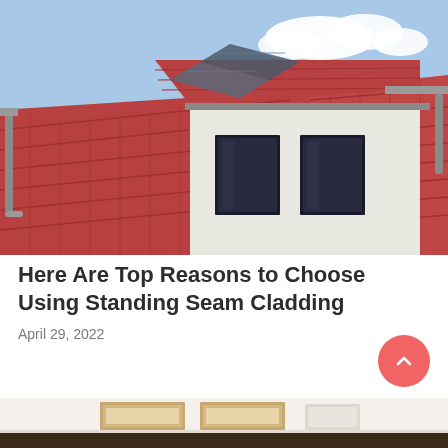[Figure (photo): Aerial view of a house with red/terracotta tiled roof featuring a dormer window with solar panels and grey guttering, blue sky with clouds in background]
Here Are Top Reasons to Choose Using Standing Seam Cladding
April 29, 2022
[Figure (photo): Partial view of an interior room with framed pictures/artwork hanging on a white wall, dark furniture visible at bottom]